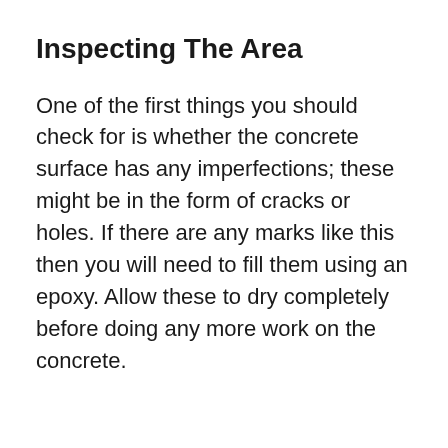Inspecting The Area
One of the first things you should check for is whether the concrete surface has any imperfections; these might be in the form of cracks or holes. If there are any marks like this then you will need to fill them using an epoxy. Allow these to dry completely before doing any more work on the concrete.